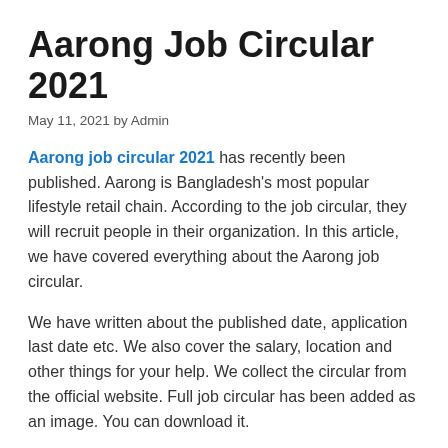Aarong Job Circular 2021
May 11, 2021 by Admin
Aarong job circular 2021 has recently been published. Aarong is Bangladesh's most popular lifestyle retail chain. According to the job circular, they will recruit people in their organization. In this article, we have covered everything about the Aarong job circular.
We have written about the published date, application last date etc. We also cover the salary, location and other things for your help. We collect the circular from the official website. Full job circular has been added as an image. You can download it.
Contents [show]